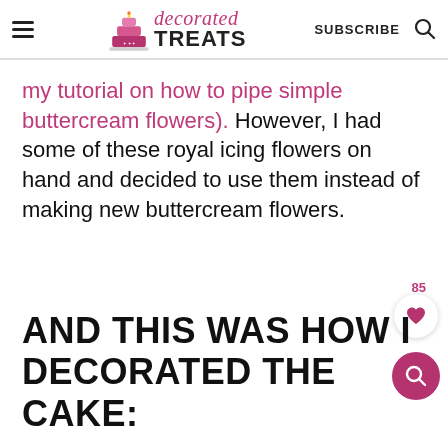decorated TREATS | SUBSCRIBE
my tutorial on how to pipe simple buttercream flowers). However, I had some of these royal icing flowers on hand and decided to use them instead of making new buttercream flowers.
AND THIS WAS HOW I DECORATED THE CAKE: